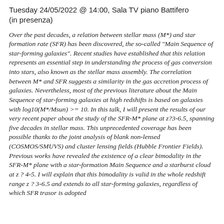Tuesday 24/05/2022 @ 14:00, Sala TV piano Battifero (in presenza)
Over the past decades, a relation between stellar mass (M*) and star formation rate (SFR) has been discovered, the so-called "Main Sequence of star-forming galaxies". Recent studies have established that this relation represents an essential step in understanding the process of gas conversion into stars, also known as the stellar mass assembly. The correlation between M* and SFR suggests a similarity in the gas accretion process of galaxies. Nevertheless, most of the previous literature about the Main Sequence of star-forming galaxies at high redshifts is based on galaxies with log10(M*/Msun) >= 10. In this talk, I will present the results of our very recent paper about the study of the SFR-M* plane at z?3-6.5, spanning five decades in stellar mass. This unprecedented coverage has been possible thanks to the joint analysis of blank non-lensed (COSMOS/SMUVS) and cluster lensing fields (Hubble Frontier Fields). Previous works have revealed the existence of a clear bimodality in the SFR-M* plane with a star-formation Main Sequence and a starburst cloud at z ? 4-5. I will explain that this bimodality is valid in the whole redshift range z ? 3-6.5 and extends to all star-forming galaxies, regardless of which SFR trasor is adopted